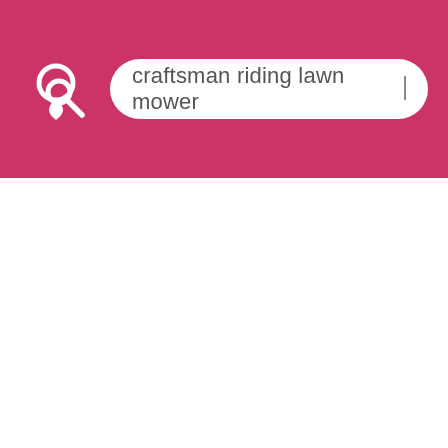[Figure (screenshot): Mobile app search interface with a crimson/pink header bar containing a location pin icon (logo) on the left and a rounded search input box on the right showing the query 'craftsman riding lawn mower' with a text cursor. The rest of the page below the header is white/empty.]